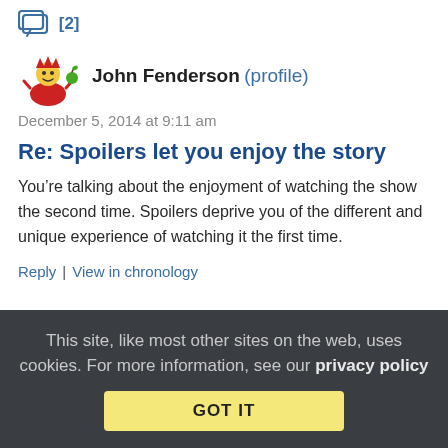[2]
John Fenderson (profile)
December 5, 2014 at 9:11 am
Re: Spoilers let you enjoy the story
You’re talking about the enjoyment of watching the show the second time. Spoilers deprive you of the different and unique experience of watching it the first time.
Reply | View in chronology
This site, like most other sites on the web, uses cookies. For more information, see our privacy policy GOT IT